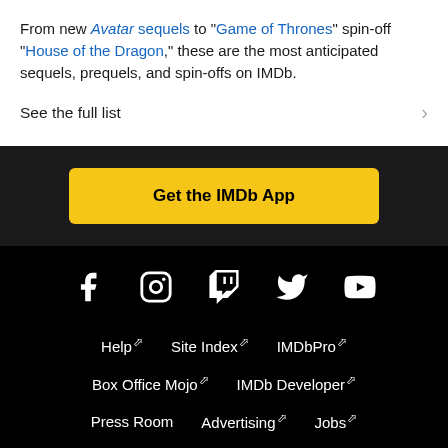From new Avatar sequels to "Game of Thrones" spin-off "House of the Dragon," these are the most anticipated sequels, prequels, and spin-offs on IMDb.
See the full list
Get the IMDb App
[Figure (other): Social media icons: Facebook, Instagram, Twitch, Twitter, YouTube]
Help  Site Index  IMDbPro  Box Office Mojo  IMDb Developer  Press Room  Advertising  Jobs  Conditions of Use  Privacy Policy